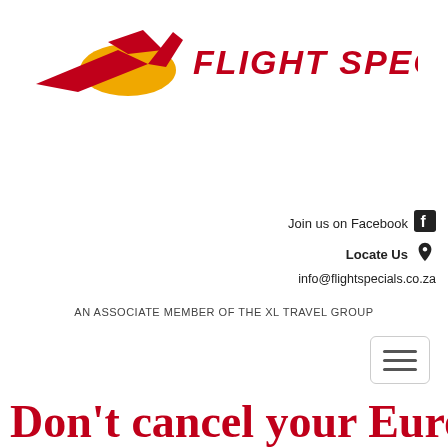[Figure (logo): Flight Specials logo: stylized plane/bird icon in red and yellow with 'FLIGHT SPECIALS' text in red bold capital letters]
Join us on Facebook
Locate Us
info@flightspecials.co.za
AN ASSOCIATE MEMBER OF THE XL TRAVEL GROUP
Don't cancel your Europe